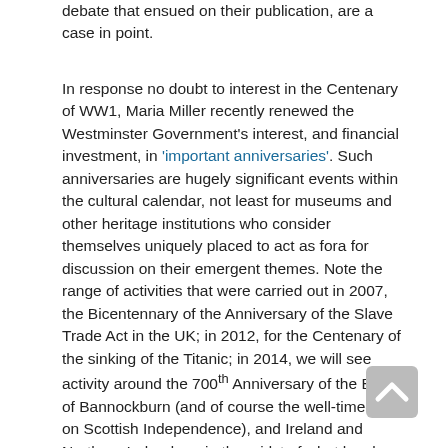debate that ensued on their publication, are a case in point.
In response no doubt to interest in the Centenary of WW1, Maria Miller recently renewed the Westminster Government's interest, and financial investment, in 'important anniversaries'. Such anniversaries are hugely significant events within the cultural calendar, not least for museums and other heritage institutions who consider themselves uniquely placed to act as fora for discussion on their emergent themes. Note the range of activities that were carried out in 2007, the Bicentennary of the Anniversary of the Slave Trade Act in the UK; in 2012, for the Centenary of the sinking of the Titanic; in 2014, we will see activity around the 700th Anniversary of the Battle of Bannockburn (and of course the well-timed vote on Scottish Independence), and Ireland and Northern Ireland are in the midst of what has been called their Decade of Centenaries in the lead up to the commemoration of partition. I suspect you